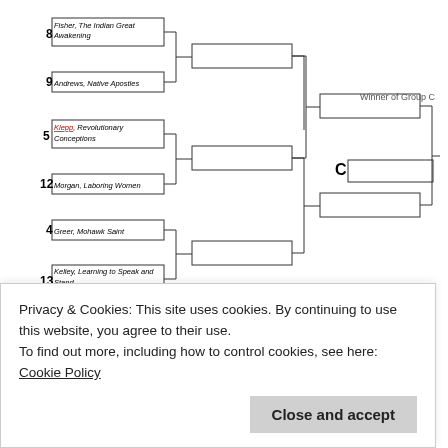[Figure (flowchart): Tournament bracket diagram showing Group C matchups. Seeds 8 (Fisher, The Indian Great Awakening) vs 9 (Andrews, Native Apostles), seeds 5 (Klepp, Revolutionary Conceptions) vs 12 (Morgan, Laboring Women), seeds 4 (Greer, Mohawk Saint) vs 13 (Kelley, Learning to Speak and Stand), with subsequent rounds leading to Winner of Group C labeled C. Also shows beginning of Group D with seeds 6 (Silver, Our Savage Neighbors) vs 11 (Duval, Native Ground). Label: GROUP C — Please copy winner onto Page 9. Copyright 2010 STRONGVON LLC.]
Privacy & Cookies: This site uses cookies. By continuing to use this website, you agree to their use.
To find out more, including how to control cookies, see here: Cookie Policy
Close and accept